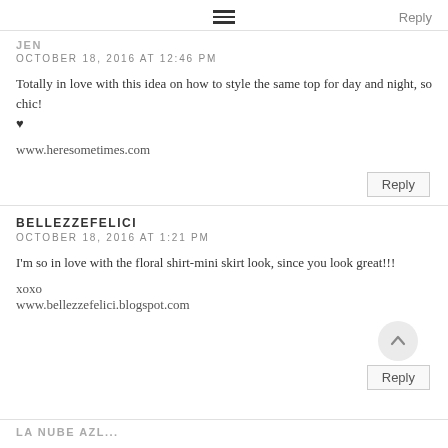≡   Reply
JEN
OCTOBER 18, 2016 AT 12:46 PM
Totally in love with this idea on how to style the same top for day and night, so chic!
♥

www.heresometimes.com
Reply
BELLEZZEFELICI
OCTOBER 18, 2016 AT 1:21 PM
I'm so in love with the floral shirt-mini skirt look, since you look great!!!

xoxo
www.bellezzefelici.blogspot.com
Reply
LA NUBE AZL...